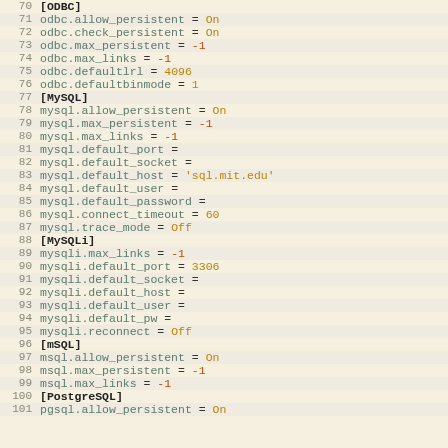[Figure (screenshot): Code editor / configuration file viewer showing lines 70–101 of a PHP ini file with syntax highlighting. Line numbers on left (gray), keys in teal/green, values in orange/gold, section headers in bold black. Background is a warm tan/cream color.]